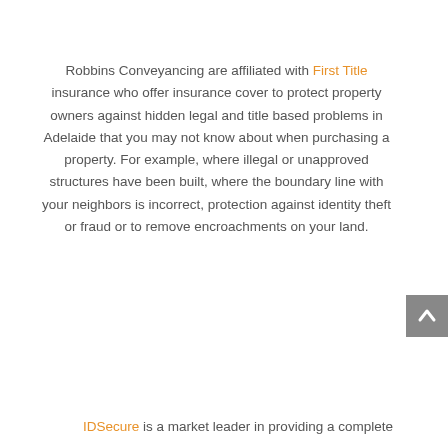Robbins Conveyancing are affiliated with First Title insurance who offer insurance cover to protect property owners against hidden legal and title based problems in Adelaide that you may not know about when purchasing a property. For example, where illegal or unapproved structures have been built, where the boundary line with your neighbors is incorrect, protection against identity theft or fraud or to remove encroachments on your land.
IDSecure is a market leader in providing a complete